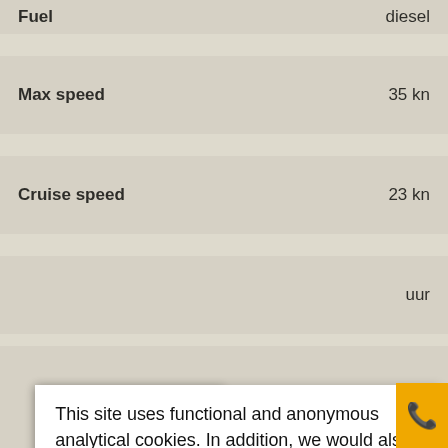| Property | Value |
| --- | --- |
| Fuel | diesel |
| Max speed | 35 kn |
| Cruise speed | 23 kn |
|  | uur |
|  | 00 |
|  | alie |
This site uses functional and anonymous analytical cookies. In addition, we would also like to show users targeted advertisements elsewhere on the internet. If you give permission for the latter, click OK.
Read more
Rather not
Okay